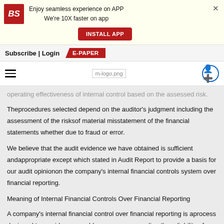[Figure (logo): Business Standard app install banner with BS logo, text 'Enjoy seamless experience on APP We're 10X faster on app', INSTALL APP button, and close X]
Subscribe | Login   E-PAPER
[Figure (logo): Hamburger menu icon, m-logo.png image placeholder, and user/share icon circle]
operating effectiveness of internal control based on the assessed risk. Theprocedures selected depend on the auditor's judgment including the assessment of the risksof material misstatement of the financial statements whether due to fraud or error.
We believe that the audit evidence we have obtained is sufficient andappropriate except which stated in Audit Report to provide a basis for our audit opinionon the company's internal financial controls system over financial reporting.
Meaning of Internal Financial Controls Over Financial Reporting
A company's internal financial control over financial reporting is aprocess designed to provide reasonable assurance regarding the reliability of financialreporting and the preparation of financial statements for external purposes in accordancewith generally accepted accounting principles. A